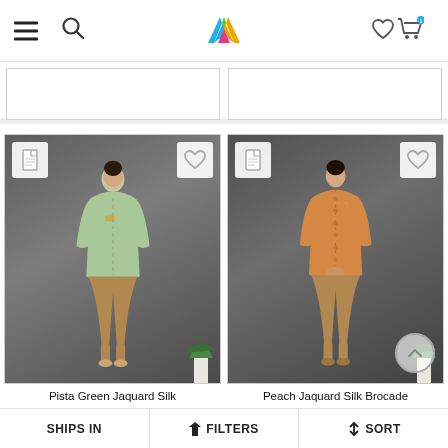[Figure (screenshot): E-commerce website header/navbar with hamburger menu, search icon, Myntra logo (M-shaped colourful icon), heart/wishlist icon, and shopping cart icon with badge.]
[Figure (photo): Partially visible product cards from the row above (cut off at top).]
[Figure (photo): Product photo: Man wearing Pista Green Jaquard Silk kurta with dhoti pants against grey background.]
Pista Green Jaquard Silk
[Figure (photo): Product photo: Man wearing Peach Jaquard Silk Brocade kurta with dhoti pants against grey background.]
Peach Jaquard Silk Brocade
SHIPS IN   FILTERS   SORT